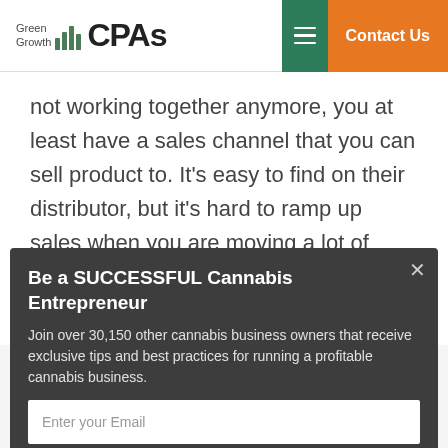Green Growth CPAs | Contact Us
not working together anymore, you at least have a sales channel that you can sell product to. It's easy to find on their distributor, but it's hard to ramp up sales when you are moving a lot of sales for them as a distributor, you were
Be a SUCCESSFUL Cannabis Entrepreneur
Join over 30,150 other cannabis business owners that receive exclusive tips and best practices for running a profitable cannabis business.
Enter your Email
ADD ME